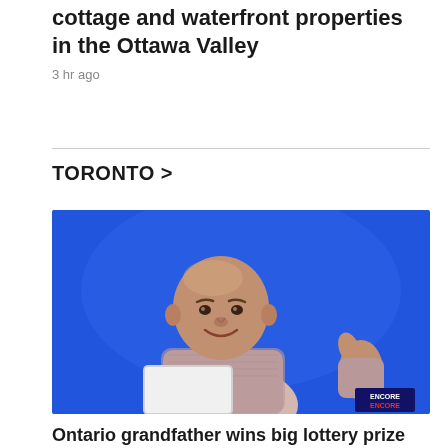cottage and waterfront properties in the Ottawa Valley
3 hr ago
TORONTO >
[Figure (photo): An older man with a bald head, smiling and giving a thumbs up with his right hand, holding a white sign/ticket in his left hand, posing against a bright blue background. He is wearing a patterned grey and pink shirt. An 'ENCORE ENCORE' badge is visible in the bottom right corner.]
Ontario grandfather wins big lottery prize for